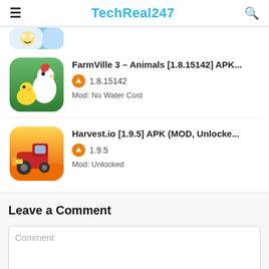TechReal247
[Figure (screenshot): Partial app icon at top, cropped]
FarmVille 3 – Animals [1.8.15142] APK...
1.8.15142
Mod: No Water Cost
Harvest.io [1.9.5] APK (MOD, Unlocke...
1.9.5
Mod: Unlocked
Leave a Comment
Comment